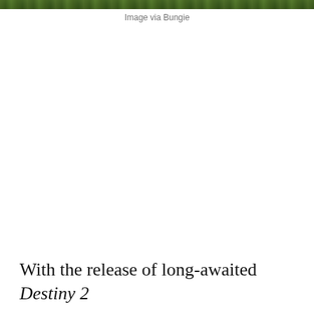[Figure (photo): Partial top strip of a Destiny 2 game screenshot showing dense green jungle/forest foliage]
Image via Bungie
With the release of long-awaited Destiny 2